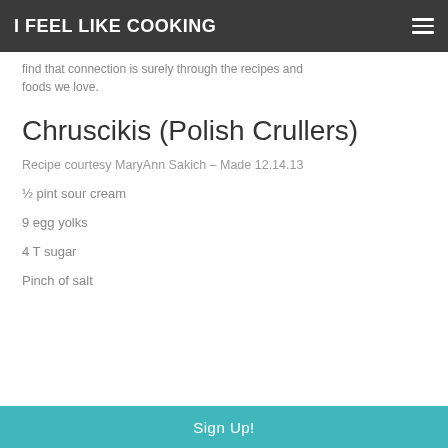I FEEL LIKE COOKING
find that connection is surely through the recipes and foods we love.
Chruscikis (Polish Crullers)
Recipe courtesy MaryAnn Sakich – Made 12.14.13
½ pint sour cream
9 egg yolks
4 T sugar
Pinch of salt
Sign Up!